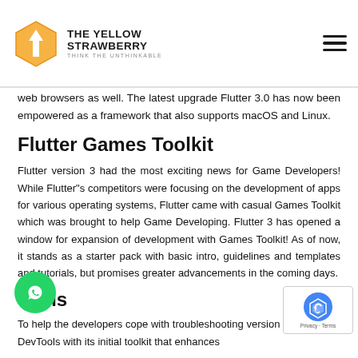THE YELLOW STRAWBERRY — THINK THE UNTHINKABLE
web browsers as well. The latest upgrade Flutter 3.0 has now been empowered as a framework that also supports macOS and Linux.
Flutter Games Toolkit
Flutter version 3 had the most exciting news for Game Developers! While Flutter"s competitors were focusing on the development of apps for various operating systems, Flutter came with casual Games Toolkit which was brought to help Game Developing. Flutter 3 has opened a window for expansion of development with Games Toolkit! As of now, it stands as a starter pack with basic intro, guidelines and templates and tutorials, but promises greater advancements in the coming days.
Tools
To help the developers cope with troubleshooting version 3 has added DevTools with its initial toolkit that enhances